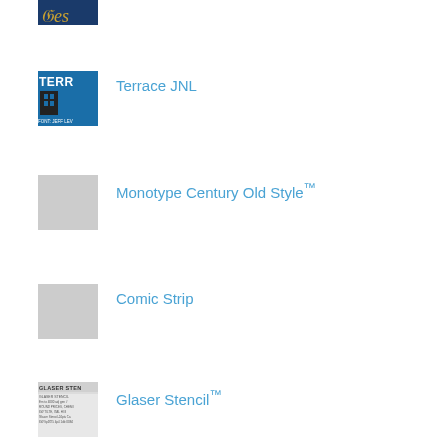[Figure (illustration): Partial font preview thumbnail (cropped at top) with dark blue background and decorative script text]
Terrace JNL
[Figure (illustration): Font preview thumbnail for Terrace JNL with blue background, white bold stencil-style letters TERRE, dark building silhouette, and text FONT: JEFF LEV]
Monotype Century Old Style™
[Figure (illustration): Gray placeholder thumbnail for Monotype Century Old Style font]
Comic Strip
[Figure (illustration): Gray placeholder thumbnail for Comic Strip font]
Glaser Stencil™
[Figure (illustration): Font preview thumbnail for Glaser Stencil showing specimen text in stencil style on light gray background]